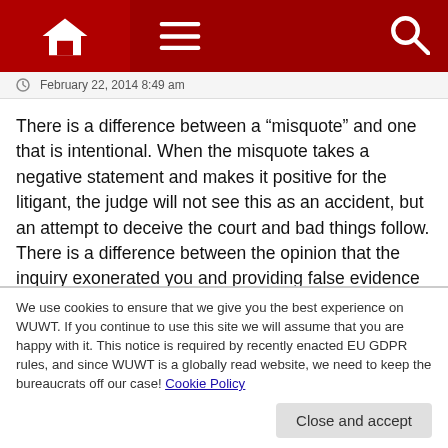[Figure (screenshot): Website navigation bar with home icon, hamburger menu, and search icon on dark red background]
February 22, 2014 8:49 am
There is a difference between a “misquote” and one that is intentional. When the misquote takes a negative statement and makes it positive for the litigant, the judge will not see this as an accident, but an attempt to deceive the court and bad things follow. There is a difference between the opinion that the inquiry exonerated you and providing false evidence to support it.
We use cookies to ensure that we give you the best experience on WUWT. If you continue to use this site we will assume that you are happy with it. This notice is required by recently enacted EU GDPR rules, and since WUWT is a globally read website, we need to keep the bureaucrats off our case! Cookie Policy
Close and accept